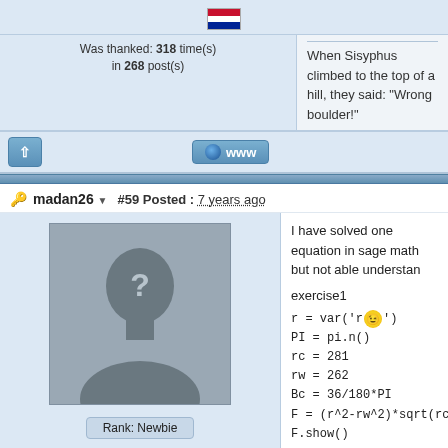[Figure (illustration): Serbian flag icon in top area]
Was thanked: 318 time(s) in 268 post(s)
When Sisyphus climbed to the top of a hill, they said: "Wrong boulder!"
madan26
#59 Posted : 7 years ago
I have solved one equation in sage math but not able understan
exercise1
r = var('r')
PI = pi.n()
rc = 281
rw = 262
Bc = 36/180*PI
F = (r^2-rw^2)*sqrt(rc^2-r^2*sin(Bc)^2)/sqrt((rc^2-rw^2)^2*rc^2*
F.show()
z = function('z',r)
d = desolve_rk4(diff(z,r)-F,z,ics=[rc,0],end_points=255,step=-0.0
list_plot(d,plotjoined=True, aspect_ratio=1)
Rank: Newbie
Groups: Registered
Joined: 15/05/2015(UTC)
Posts: 2